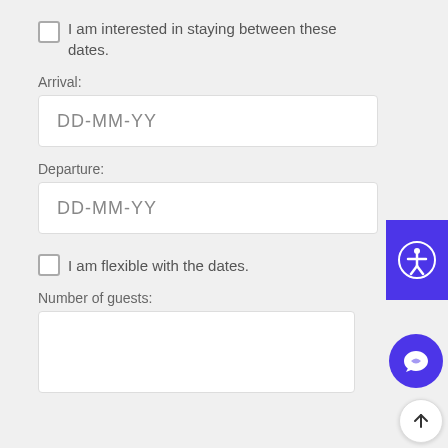I am interested in staying between these dates.
Arrival:
DD-MM-YY
Departure:
DD-MM-YY
I am flexible with the dates.
Number of guests: